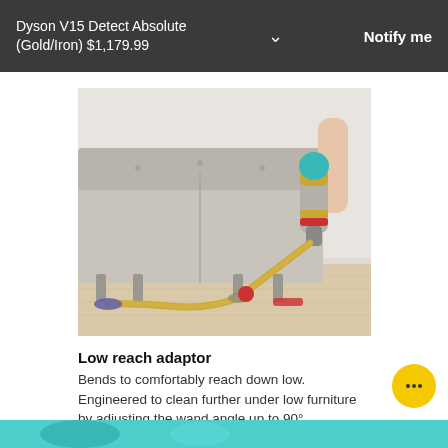Dyson V15 Detect Absolute (Gold/Iron) $1,179.99
Notify me
[Figure (photo): Person holding a Dyson V15 Detect vacuum cleaner with low reach adaptor attached, cleaning under a light grey sofa in a modern living room setting with pale hardwood floors.]
Low reach adaptor
Bends to comfortably reach down low. Engineered to clean further under low furniture by adjusting the wand angle up to 90°.
[Figure (photo): Partial bottom strip showing a cyan/teal colored element from the Dyson product.]